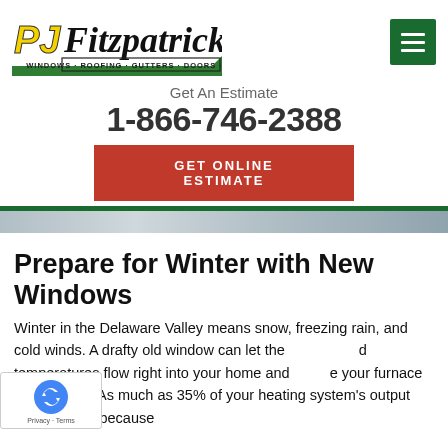[Figure (logo): PJ Fitzpatrick logo with tagline WINDOWS · ROOFING · GUTTERS · DOORS · BATHS and green swoosh accent]
Get An Estimate
1-866-746-2388
GET ONLINE ESTIMATE
[Figure (photo): Partial hero image strip showing windows in winter scene]
Prepare for Winter with New Windows
Winter in the Delaware Valley means snow, freezing rain, and cold winds. A drafty old window can let the cold temperatures flow right into your home and make your furnace work harder. As much as 35% of your heating system's output could be lost because